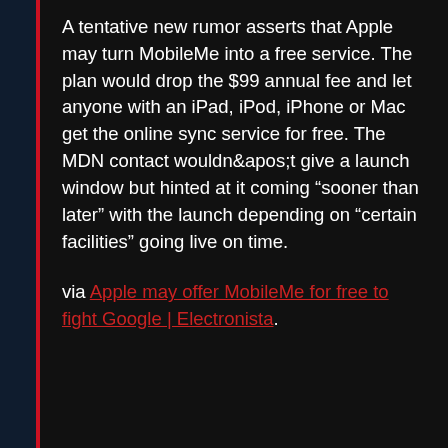A tentative new rumor asserts that Apple may turn MobileMe into a free service. The plan would drop the $99 annual fee and let anyone with an iPad, iPod, iPhone or Mac get the online sync service for free. The MDN contact wouldn&apos;t give a launch window but hinted at it coming “sooner than later” with the launch depending on “certain facilities” going live on time.
via Apple may offer MobileMe for free to fight Google | Electronista.
UNCATEGORIZED
Facebook Vastly Simplifies Privacy Settings